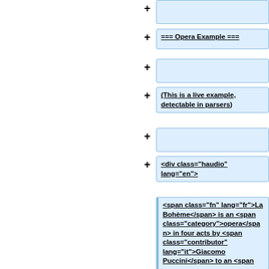+ (empty box)
+ === Opera Example ===
+ (empty box)
+ (This is a live example, detectable in parsers)
+ (empty box)
+ <div class="haudio" lang="en">
<span class="fn" lang="fr">La Bohème</span> is an <span class="category">opera</span> in four acts by <span class="contributor" lang="it">Giacomo Puccini</span> to an <span